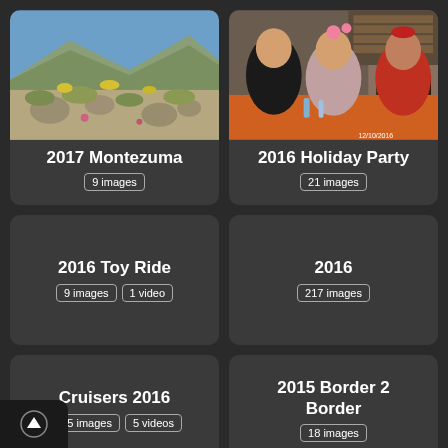[Figure (photo): Desert landscape with rocks, shrubs, yellow wildflowers, and mountains in background under blue sky]
2017 Montezuma
9 images
[Figure (photo): Three women sitting at a table with orange tablecloth, wearing holiday accessories, in front of a fireplace]
2016 Holiday Party
21 images
2016 Toy Ride
9 images  1 video
2016
217 images
Cruisers 2016
335 images  5 videos
2015 Border 2 Border
18 images